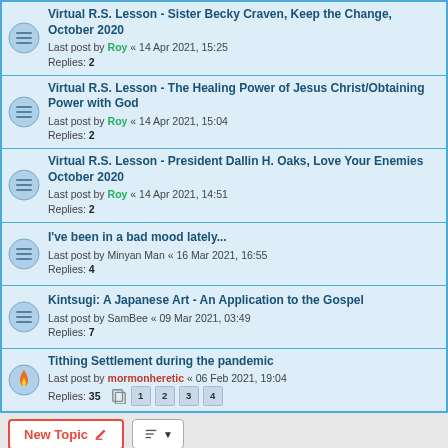Virtual R.S. Lesson - Sister Becky Craven, Keep the Change, October 2020
Last post by Roy « 14 Apr 2021, 15:25
Replies: 2
Virtual R.S. Lesson - The Healing Power of Jesus Christ/Obtaining Power with God
Last post by Roy « 14 Apr 2021, 15:04
Replies: 2
Virtual R.S. Lesson - President Dallin H. Oaks, Love Your Enemies October 2020
Last post by Roy « 14 Apr 2021, 14:51
Replies: 2
I've been in a bad mood lately...
Last post by Minyan Man « 16 Mar 2021, 16:55
Replies: 4
Kintsugi: A Japanese Art - An Application to the Gospel
Last post by SamBee « 09 Mar 2021, 03:49
Replies: 7
Tithing Settlement during the pandemic
Last post by mormonheretic « 06 Feb 2021, 19:04
Replies: 35
Pages: 1 2 3 4
987 topics  1 2 3 4 5 ... 40
Jump to